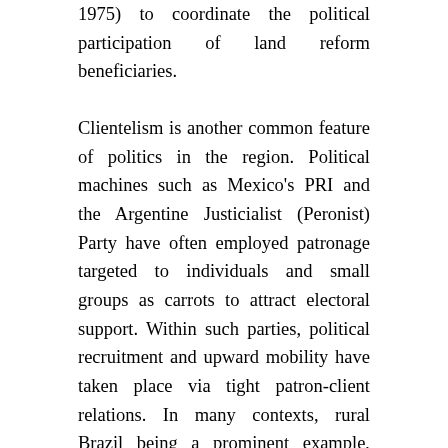1975) to coordinate the political participation of land reform beneficiaries.
Clientelism is another common feature of politics in the region. Political machines such as Mexico's PRI and the Argentine Justicialist (Peronist) Party have often employed patronage targeted to individuals and small groups as carrots to attract electoral support. Within such parties, political recruitment and upward mobility have taken place via tight patron-client relations. In many contexts, rural Brazil being a prominent example, local economic elites serve as patrons to their social inferiors, often intervening with local or national authorities to secure private goods for their clients, cementing their local power in the process. Although progressive political activists recognize that clientelism can entrap their organizations in a reliance on patrons for discrete